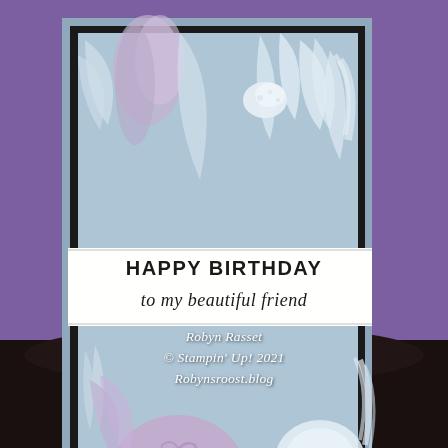[Figure (photo): A handmade birthday card with embossed seashell texture paper in pastel blue and lavender. The card has a black border layer, a slate blue card base, and an embossed panel showing shells, coral, and sea creatures in white, lavender, and light blue tones. A white banner across the middle reads 'HAPPY BIRTHDAY to my beautiful friend' in bold print and italic script. The card sits on a dark surface against a purple background.]
Robyn Rasset
© Stampin' Up! 2021
Robynsroost.blog